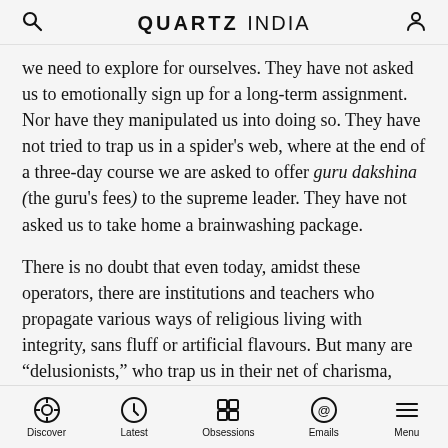QUARTZ INDIA
we need to explore for ourselves. They have not asked us to emotionally sign up for a long-term assignment. Nor have they manipulated us into doing so. They have not tried to trap us in a spider's web, where at the end of a three-day course we are asked to offer guru dakshina (the guru's fees) to the supreme leader. They have not asked us to take home a brainwashing package.
There is no doubt that even today, amidst these operators, there are institutions and teachers who propagate various ways of religious living with integrity, sans fluff or artificial flavours. But many are “delusionists,” who trap us in their net of charisma, mind-play and clever one-liners. We forget our mind and consequently the questions that trouble us, and parrot those that the guru choreographs us into asking.
Discover | Latest | Obsessions | Emails | Menu